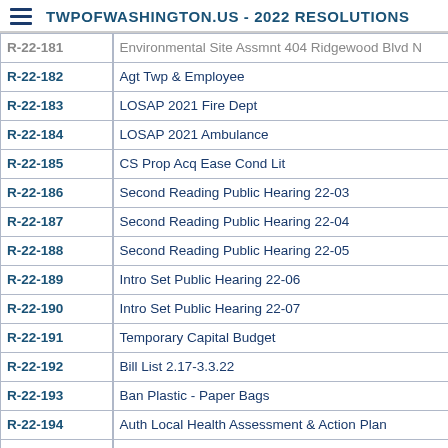TWPOFWASHINGTON.US - 2022 RESOLUTIONS
| Resolution | Description |
| --- | --- |
| R-22-181 | Environmental Site Assmnt 404 Ridgewood Blvd N |
| R-22-182 | Agt Twp & Employee |
| R-22-183 | LOSAP 2021 Fire Dept |
| R-22-184 | LOSAP 2021 Ambulance |
| R-22-185 | CS Prop Acq Ease Cond Lit |
| R-22-186 | Second Reading Public Hearing 22-03 |
| R-22-187 | Second Reading Public Hearing 22-04 |
| R-22-188 | Second Reading Public Hearing 22-05 |
| R-22-189 | Intro Set Public Hearing 22-06 |
| R-22-190 | Intro Set Public Hearing 22-07 |
| R-22-191 | Temporary Capital Budget |
| R-22-192 | Bill List 2.17-3.3.22 |
| R-22-193 | Ban Plastic - Paper Bags |
| R-22-194 | Auth Local Health Assessment & Action Plan |
| R-22-195 |  |
| R-22-196 | Alternate Public Defender |
| R-22-197 | Second Reading Public Hearing 22-06 |
| R-22-198 | Second Reading Public Hearing 22-07 |
| R-22-199 | Acquisition of Property 95 Linwood Ave |
| R-22-200 |  |